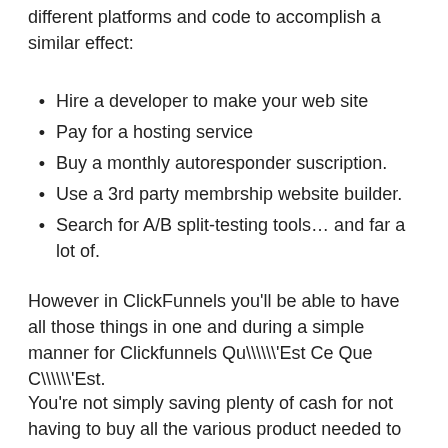different platforms and code to accomplish a similar effect:
Hire a developer to make your web site
Pay for a hosting service
Buy a monthly autoresponder suscription.
Use a 3rd party membrship website builder.
Search for A/B split-testing tools… and far a lot of.
However in ClickFunnels you'll be able to have all those things in one and during a simple manner for Clickfunnels Qu\'Est Ce Que C\'Est.
You're not simply saving plenty of cash for not having to buy all the various product needed to